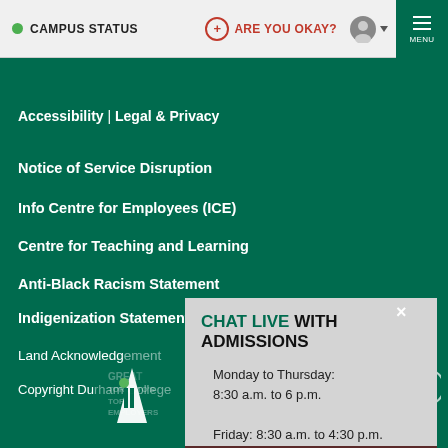CAMPUS STATUS | ARE YOU OKAY? | MENU
Accessibility | Legal & Privacy
Notice of Service Disruption
Info Centre for Employees (ICE)
Centre for Teaching and Learning
Anti-Black Racism Statement
Indigenization Statement
Land Acknowledgement
Copyright Durham College
[Figure (screenshot): Chat Live with Admissions popup overlay showing office hours: Monday to Thursday 8:30 a.m. to 6 p.m., Friday 8:30 a.m. to 4:30 p.m.]
CHAT LIVE WITH ADMISSIONS
Monday to Thursday: 8:30 a.m. to 6 p.m.
Friday: 8:30 a.m. to 4:30 p.m.